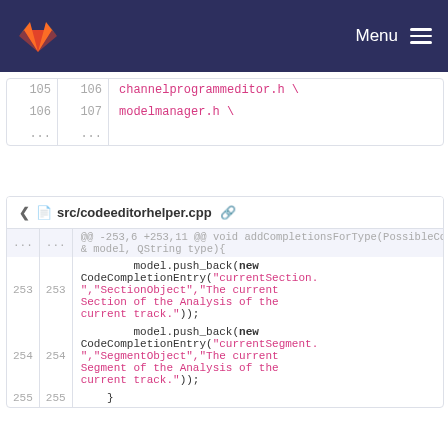Menu
| old | new | code |
| --- | --- | --- |
| 105 | 106 | channelprogrammeditor.h \ |
| 106 | 107 | modelmanager.h \ |
| ... | ... |  |
src/codeeditorhelper.cpp
| old | new | code |
| --- | --- | --- |
| ... | ... | @@ -253,6 +253,11 @@ void addCompletionsForType(PossibleCodeComplet & model, QString type){ |
| 253 | 253 |         model.push_back(new CodeCompletionEntry("currentSection.","SectionObject","The current Section of the Analysis of the current track.")); |
| 254 | 254 |         model.push_back(new CodeCompletionEntry("currentSegment.","SegmentObject","The current Segment of the Analysis of the current track.")); |
| 255 | 255 |     } |